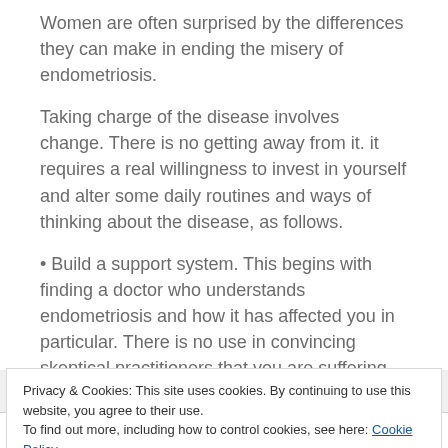Women are often surprised by the differences they can make in ending the misery of endometriosis.
Taking charge of the disease involves change. There is no getting away from it. it requires a real willingness to invest in yourself and alter some daily routines and ways of thinking about the disease, as follows.
• Build a support system. This begins with finding a doctor who understands endometriosis and how it has affected you in particular. There is no use in convincing skeptical practitioners that you are suffering from a real condition if they persist in
Privacy & Cookies: This site uses cookies. By continuing to use this website, you agree to their use.
To find out more, including how to control cookies, see here: Cookie Policy
attributed to prostaglandin levels, painful intercourse,